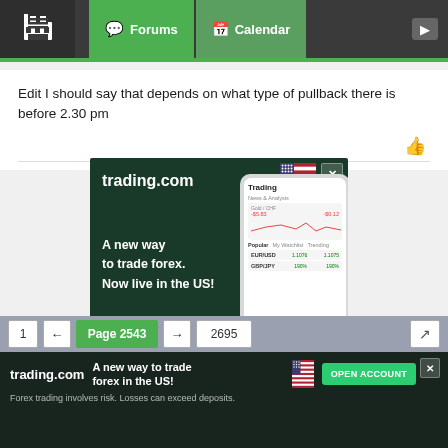Forums | Calendar
Edit I should say that depends on what type of pullback there is before 2.30 pm
[Figure (screenshot): trading.com advertisement banner showing a phone with forex trading app, US flag, text 'A new way to trade forex. Now live in the US!', green OPEN ACCOUNT button, and disclaimer 'Forex trading involves risk. Losses can exceed deposits.']
1 ← Page 2543 → 2695
[Figure (screenshot): trading.com bottom banner ad with text 'A new way to trade forex in the US!', OPEN ACCOUNT button, and disclaimer 'Forex trading involves risk. Losses can exceed deposits.']